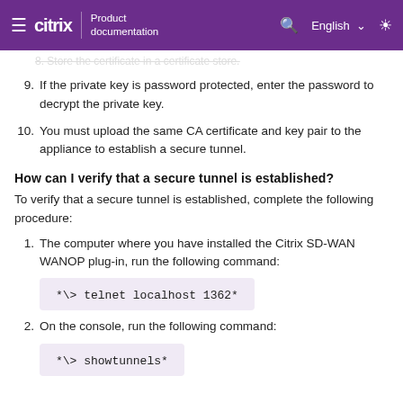Citrix Product documentation
9. If the private key is password protected, enter the password to decrypt the private key.
10. You must upload the same CA certificate and key pair to the appliance to establish a secure tunnel.
How can I verify that a secure tunnel is established?
To verify that a secure tunnel is established, complete the following procedure:
1. The computer where you have installed the Citrix SD-WAN WANOP plug-in, run the following command:
*\> telnet localhost 1362*
2. On the console, run the following command:
*\> showtunnels*